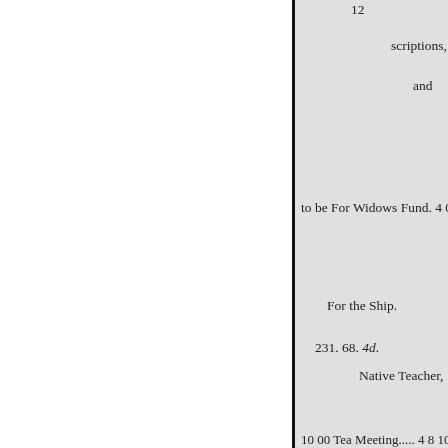12
scriptions,
and
to be For Widows Fund. 4 0 0 Ex
For the Ship.
231. 68. 4d.
Native Teacher,
10 00 Tea Meeting..... 4 8 10
10 0 0
Missionary Boxes. Collections
0 8 0 Schools and by
DERTYUIRE.
Subscriptions